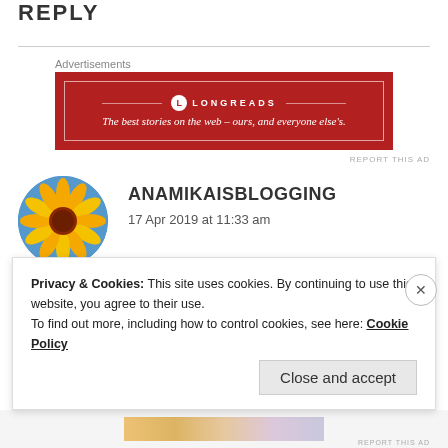REPLY
[Figure (illustration): Longreads advertisement banner: red background with white border, Longreads logo and tagline 'The best stories on the web – ours, and everyone else's.']
[Figure (photo): Circular avatar of a bright orange/yellow gerbera daisy flower against a blue sky background]
ANAMIKAISBLOGGING
17 Apr 2019 at 11:33 am
It happens all the time Priya...so don't fret much over it. You do best in your studies all other things
Privacy & Cookies: This site uses cookies. By continuing to use this website, you agree to their use.
To find out more, including how to control cookies, see here: Cookie Policy
Close and accept